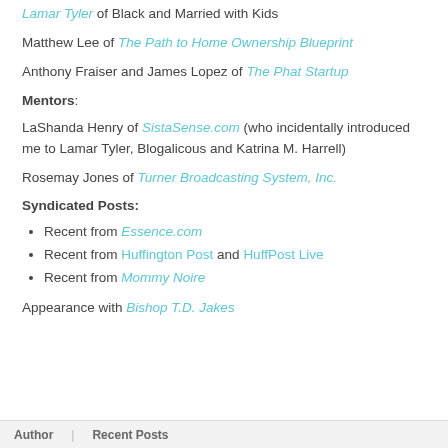Lamar Tyler of Black and Married with Kids
Matthew Lee of The Path to Home Ownership Blueprint
Anthony Fraiser and James Lopez of The Phat Startup
Mentors:
LaShanda Henry of SistaSense.com (who incidentally introduced me to Lamar Tyler, Blogalicous and Katrina M. Harrell)
Rosemay Jones of Turner Broadcasting System, Inc.
Syndicated Posts:
Recent from Essence.com
Recent from Huffington Post and HuffPost Live
Recent from Mommy Noire
Appearance with Bishop T.D. Jakes
Author   Recent Posts